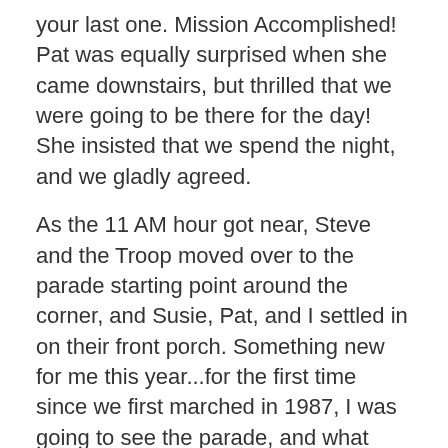your last one. Mission Accomplished! Pat was equally surprised when she came downstairs, but thrilled that we were going to be there for the day! She insisted that we spend the night, and we gladly agreed.
As the 11 AM hour got near, Steve and the Troop moved over to the parade starting point around the corner, and Susie, Pat, and I settled in on their front porch. Something new for me this year...for the first time since we first marched in 1987, I was going to see the parade, and what better place to see it, than Patrice and Steve Grosskopf's front porch, a location on which the 4 of us had spent many, many enjoyable hours over the past 20 years they've owned the house! Promptly at 11 AM, the parade set off from Mineola's Wilson Park, rounded the corner of Union Street and Westbury Avenue, and sailed by our front row seats! Lots of memories and lots of